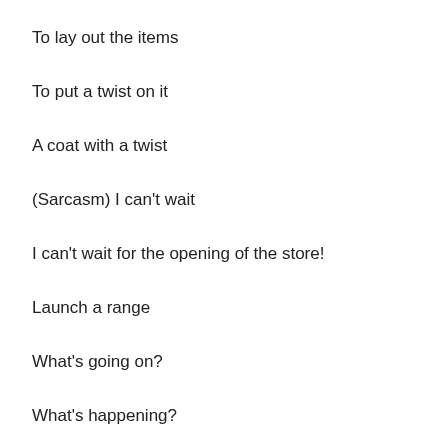To lay out the items
To put a twist on it
A coat with a twist
(Sarcasm) I can't wait
I can't wait for the opening of the store!
Launch a range
What's going on?
What's happening?